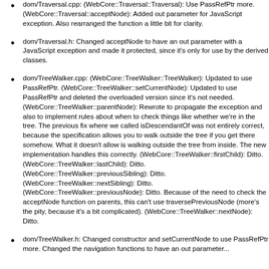dom/Traversal.cpp: (WebCore::Traversal::Traversal): Use PassRefPtr more. (WebCore::Traversal::acceptNode): Added out parameter for JavaScript exception. Also rearranged the function a little bit for clarity.
dom/Traversal.h: Changed acceptNode to have an out parameter with a JavaScript exception and made it protected, since it's only for use by the derived classes.
dom/TreeWalker.cpp: (WebCore::TreeWalker::TreeWalker): Updated to use PassRefPtr. (WebCore::TreeWalker::setCurrentNode): Updated to use PassRefPtr and deleted the overloaded version since it's not needed. (WebCore::TreeWalker::parentNode): Rewrote to propagate the exception and also to implement rules about when to check things like whether we're in the tree. The previous fix where we called isDescendantOf was not entirely correct, because the specification allows you to walk outside the tree if you get there somehow. What it doesn't allow is walking outside the tree from inside. The new implementation handles this correctly. (WebCore::TreeWalker::firstChild): Ditto. (WebCore::TreeWalker::lastChild): Ditto. (WebCore::TreeWalker::previousSibling): Ditto. (WebCore::TreeWalker::nextSibling): Ditto. (WebCore::TreeWalker::previousNode): Ditto. Because of the need to check the acceptNode function on parents, this can't use traversePreviousNode (more's the pity, because it's a bit complicated). (WebCore::TreeWalker::nextNode): Ditto.
dom/TreeWalker.h: Changed constructor and setCurrentNode to use PassRefPtr more. Changed the navigation functions to have an out parameter...